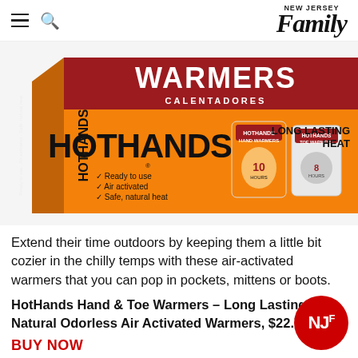NEW JERSEY Family
[Figure (photo): HotHands Hand & Toe Warmers product box — orange and dark red packaging showing the HotHands logo, 'WARMERS / CALENTADORES' text, two individual warmer packets, 'LONG LASTING HEAT' text, and checkmarks reading 'Ready to use / Air activated / Safe, natural heat']
Extend their time outdoors by keeping them a little bit cozier in the chilly temps with these air-activated warmers that you can pop in pockets, mittens or boots.
HotHands Hand & Toe Warmers – Long Lasting Safe Natural Odorless Air Activated Warmers, $22.7
BUY NOW